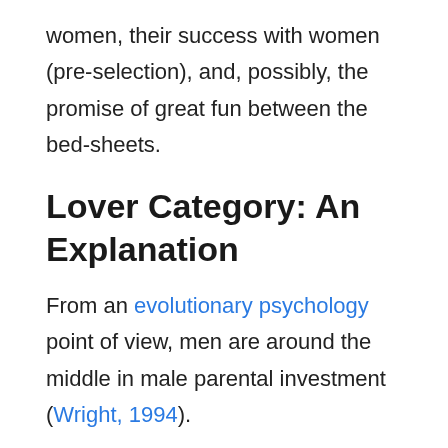women, their success with women (pre-selection), and, possibly, the promise of great fun between the bed-sheets.
Lover Category: An Explanation
From an evolutionary psychology point of view, men are around the middle in male parental investment (Wright, 1994).
In a nutshell, that means that men don't just give out sperm, but they invest in their women, offspring, and intimate relationship.